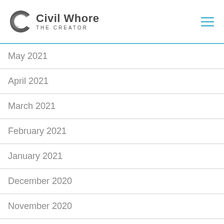Civil Whore The Creator
May 2021
April 2021
March 2021
February 2021
January 2021
December 2020
November 2020
October 2020